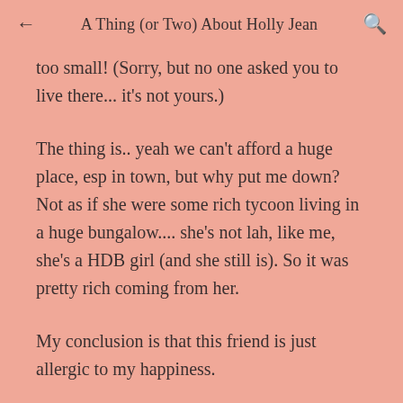← A Thing (or Two) About Holly Jean 🔍
too small! (Sorry, but no one asked you to live there... it's not yours.)
The thing is.. yeah we can't afford a huge place, esp in town, but why put me down? Not as if she were some rich tycoon living in a huge bungalow.... she's not lah, like me, she's a HDB girl (and she still is). So it was pretty rich coming from her.
My conclusion is that this friend is just allergic to my happiness.